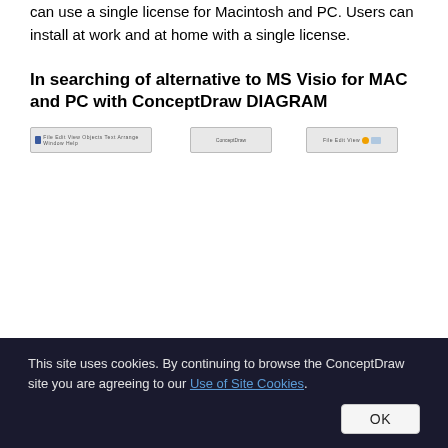can use a single license for Macintosh and PC. Users can install at work and at home with a single license.
In searching of alternative to MS Visio for MAC and PC with ConceptDraw DIAGRAM
[Figure (screenshot): Three small screenshots of software toolbar/interface elements side by side]
This site uses cookies. By continuing to browse the ConceptDraw site you are agreeing to our Use of Site Cookies.